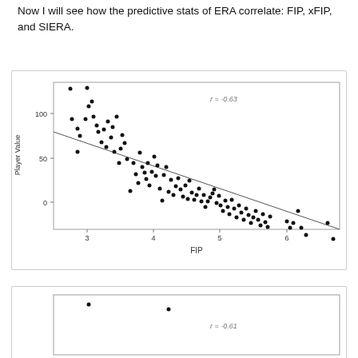Now I will see how the predictive stats of ERA correlate: FIP, xFIP, and SIERA.
[Figure (continuous-plot): Scatter plot of Player Value vs FIP with a fitted regression line showing negative correlation. r = -0.63 annotated on chart. X-axis labeled FIP with ticks at 3, 4, 5, 6. Y-axis labeled Player Value with ticks at 0, 50, 100.]
[Figure (continuous-plot): Partial scatter plot at bottom of page, beginning of second chart. r = -0.61 annotated.]